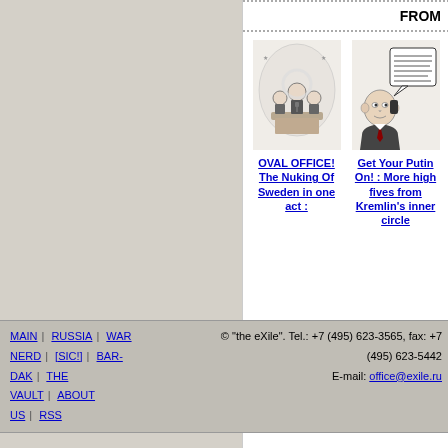FROM
[Figure (illustration): Cartoon illustration of figures at a podium, likely depicting U.S. government/Oval Office scene]
OVAL OFFICE! The Nuking Of Sweden in one act :
[Figure (illustration): Cartoon illustration of a person on phone with speech bubble, depicting Putin/Kremlin scene]
Get Your Putin On! : More high fives from Kremlin's inner circle
MAIN | RUSSIA | WAR NERD | [SIC!] | BAR-DAK | THE VAULT | ABOUT US | RSS   © "the eXile". Tel.: +7 (495) 623-3565, fax: +7 (495) 623-5442  E-mail: office@exile.ru